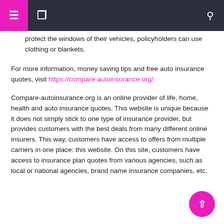Navigation header with menu icons and search
protect the windows of their vehicles, policyholders can use clothing or blankets.
For more information, money saving tips and free auto insurance quotes, visit https://compare-autoinsurance.org/
Compare-autoinsurance.org is an online provider of life, home, health and auto insurance quotes. This website is unique because it does not simply stick to one type of insurance provider, but provides customers with the best deals from many different online insurers. This way, customers have access to offers from multiple carriers in one place: this website. On this site, customers have access to insurance plan quotes from various agencies, such as local or national agencies, brand name insurance companies, etc.